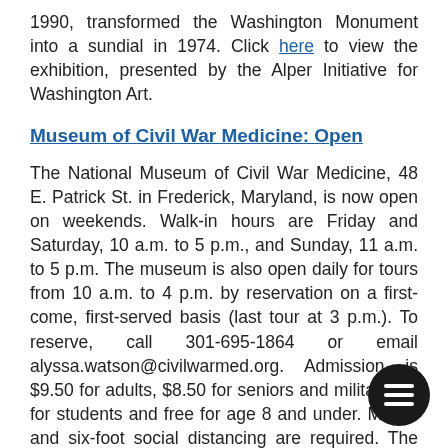1990, transformed the Washington Monument into a sundial in 1974. Click here to view the exhibition, presented by the Alper Initiative for Washington Art.
Museum of Civil War Medicine: Open
The National Museum of Civil War Medicine, 48 E. Patrick St. in Frederick, Maryland, is now open on weekends. Walk-in hours are Friday and Saturday, 10 a.m. to 5 p.m., and Sunday, 11 a.m. to 5 p.m. The museum is also open daily for tours from 10 a.m. to 4 p.m. by reservation on a first-come, first-served basis (last tour at 3 p.m.). To reserve, call 301-695-1864 or email alyssa.watson@civilwarmed.org. Admission is $9.50 for adults, $8.50 for seniors and military, $7 for students and free for age 8 and under. Masks and six-foot social distancing are required. The Pry House Field Hospital Museum and the Clara Barton